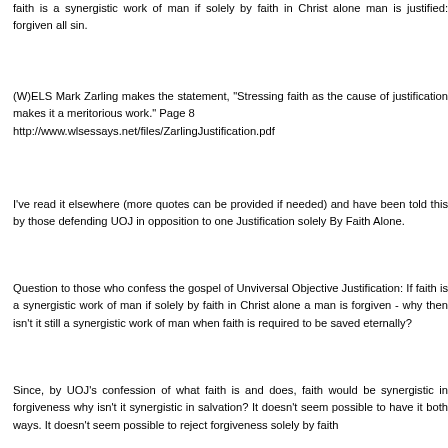faith is a synergistic work of man if solely by faith in Christ alone man is justified: forgiven all sin.
(W)ELS Mark Zarling makes the statement, "Stressing faith as the cause of justification makes it a meritorious work." Page 8 http://www.wlsessays.net/files/ZarlingJustification.pdf
I've read it elsewhere (more quotes can be provided if needed) and have been told this by those defending UOJ in opposition to one Justification solely By Faith Alone.
Question to those who confess the gospel of Unviversal Objective Justification: If faith is a synergistic work of man if solely by faith in Christ alone a man is forgiven - why then isn't it still a synergistic work of man when faith is required to be saved eternally?
Since, by UOJ's confession of what faith is and does, faith would be synergistic in forgiveness why isn't it synergistic in salvation? It doesn't seem possible to have it both ways. It doesn't seem possible to reject forgiveness solely by faith